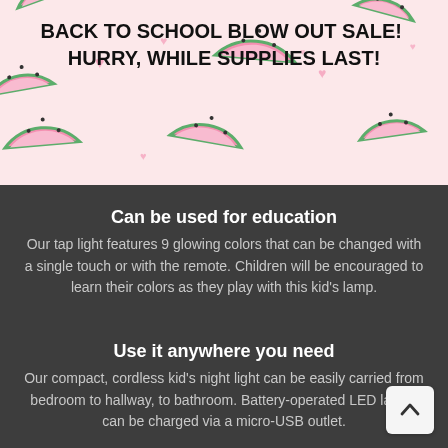[Figure (illustration): Pink background banner with watermelon slice decorations and small hearts pattern]
BACK TO SCHOOL BLOW OUT SALE!  HURRY, WHILE SUPPLIES LAST!
Can be used for education
Our tap light features 9 glowing colors that can be changed with a single touch or with the remote. Children will be encouraged to learn their colors as they play with this kid's lamp.
Use it anywhere you need
Our compact, cordless kid's night light can be easily carried from bedroom to hallway, to bathroom. Battery-operated LED lamps can be charged via a micro-USB outlet.